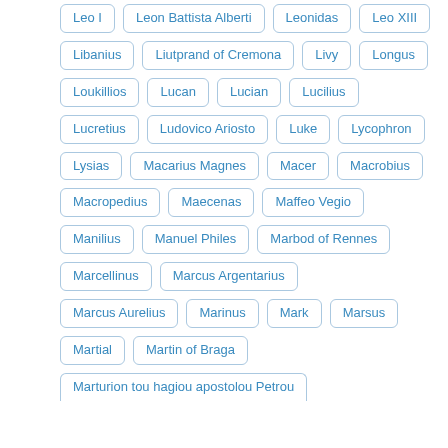Leo I
Leon Battista Alberti
Leonidas
Leo XIII
Libanius
Liutprand of Cremona
Livy
Longus
Loukillios
Lucan
Lucian
Lucilius
Lucretius
Ludovico Ariosto
Luke
Lycophron
Lysias
Macarius Magnes
Macer
Macrobius
Macropedius
Maecenas
Maffeo Vegio
Manilius
Manuel Philes
Marbod of Rennes
Marcellinus
Marcus Argentarius
Marcus Aurelius
Marinus
Mark
Marsus
Martial
Martin of Braga
Marturion tou hagiou apostolou Petrou